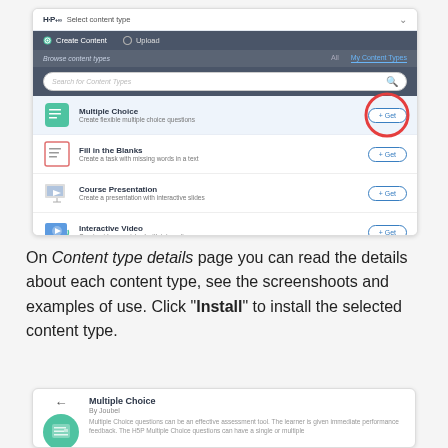[Figure (screenshot): H5P content hub interface showing 'Select content type' panel with Create Content and Upload tabs, a search bar, and a list of content types (Multiple Choice, Fill in the Blanks, Course Presentation, Interactive Video) each with a '+ Get' button. The Multiple Choice row's Get button is circled in red.]
On Content type details page you can read the details about each content type, see the screenshoots and examples of use. Click "Install" to install the selected content type.
[Figure (screenshot): Partial screenshot showing a Multiple Choice content type detail page with back arrow, green circular icon, title 'Multiple Choice', 'By Joubel', and a description of the content type.]